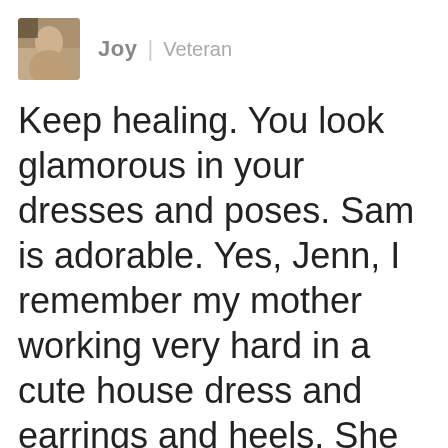[Figure (photo): Small square avatar photo of a person, brownish tones]
Joy | Veteran
Keep healing. You look glamorous in your dresses and poses. Sam is adorable. Yes, Jenn, I remember my mother working very hard in a cute house dress and earrings and heels. She had no automatic washer and dryer. Washday meant a bluing sink. Dad's white dress shirts, a hand wrin